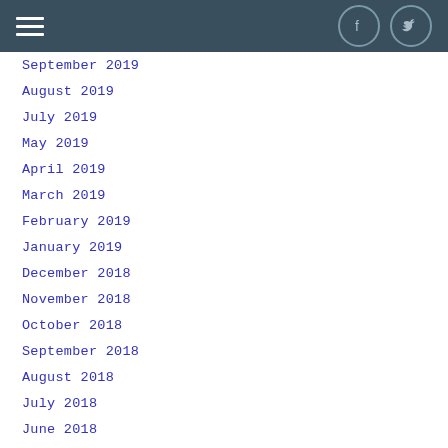Navigation header with hamburger menu and social icons (Facebook, Twitter)
September 2019
August 2019
July 2019
May 2019
April 2019
March 2019
February 2019
January 2019
December 2018
November 2018
October 2018
September 2018
August 2018
July 2018
June 2018
May 2018
April 2018
March 2018
February 2018